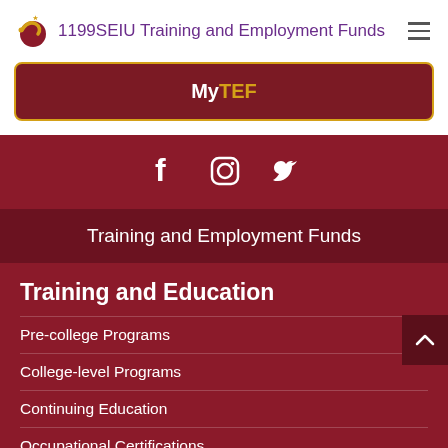1199SEIU Training and Employment Funds
MyTEF
[Figure (infographic): Social media icons: Facebook, Instagram, Twitter in white on dark red background]
Training and Employment Funds
Training and Education
Pre-college Programs
College-level Programs
Continuing Education
Occupational Certifications
Training for Home Care Workers